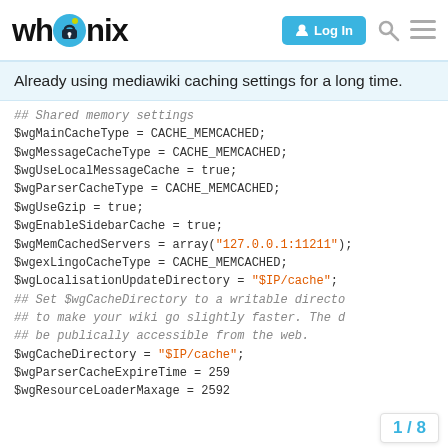whonix — Log In
Already using mediawiki caching settings for a long time.
## Shared memory settings
$wgMainCacheType = CACHE_MEMCACHED;
$wgMessageCacheType = CACHE_MEMCACHED;
$wgUseLocalMessageCache = true;
$wgParserCacheType = CACHE_MEMCACHED;
$wgUseGzip = true;
$wgEnableSidebarCache = true;
$wgMemCachedServers = array("127.0.0.1:11211");
$wgexLingoCacheType = CACHE_MEMCACHED;
$wgLocalisationUpdateDirectory = "$IP/cache";
## Set $wgCacheDirectory to a writable director
## to make your wiki go slightly faster. The di
## be publically accessible from the web.
$wgCacheDirectory = "$IP/cache";
$wgParserCacheExpireTime = 259...
$wgResourceLoaderMaxage = 2592...
1 / 8